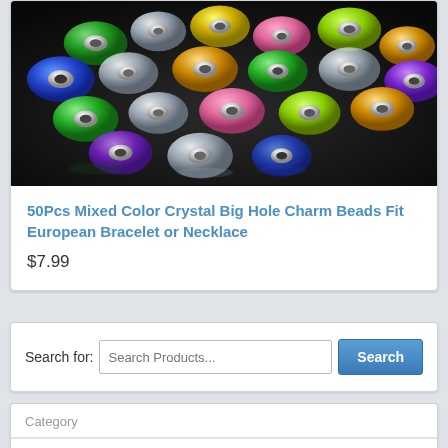[Figure (photo): Colorful mixed crystal big hole charm beads scattered on a dark reflective surface, showing various colors including blue, green, yellow, pink, amber, and clear beads with silver metallic rings]
50Pcs Mixed Color Crystal Big Hole Charm Beads Fit European Bracelet or Necklace
$7.99
Search for: Search Products... Search
Category
22K Gold Vacuum Plated Beads Translate »